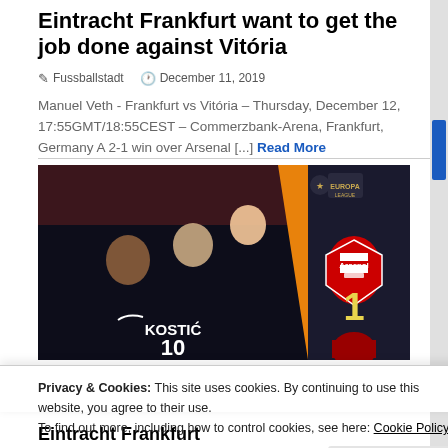Eintracht Frankfurt want to get the job done against Vitória
✎ Fussballstadt   🕐 December 11, 2019
Manuel Veth - Frankfurt vs Vitória – Thursday, December 12, 17:55GMT/18:55CEST – Commerzbank-Arena, Frankfurt, Germany A 2-1 win over Arsenal [...] Read More
[Figure (photo): Soccer players celebrating, one wearing jersey number 10 with name KOSTIĆ, with Arsenal logo and score showing '1' on right side, Europa League branding visible]
Privacy & Cookies: This site uses cookies. By continuing to use this website, you agree to their use.
To find out more, including how to control cookies, see here: Cookie Policy
Close and accept
Eintracht Frankfurt